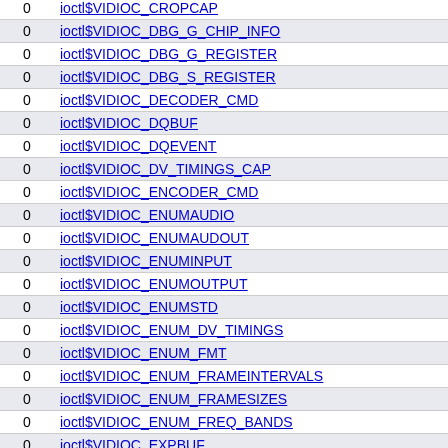|  |  |
| --- | --- |
| 0 | ioctl$VIDIOC_CROPCAP |
| 0 | ioctl$VIDIOC_DBG_G_CHIP_INFO |
| 0 | ioctl$VIDIOC_DBG_G_REGISTER |
| 0 | ioctl$VIDIOC_DBG_S_REGISTER |
| 0 | ioctl$VIDIOC_DECODER_CMD |
| 0 | ioctl$VIDIOC_DQBUF |
| 0 | ioctl$VIDIOC_DQEVENT |
| 0 | ioctl$VIDIOC_DV_TIMINGS_CAP |
| 0 | ioctl$VIDIOC_ENCODER_CMD |
| 0 | ioctl$VIDIOC_ENUMAUDIO |
| 0 | ioctl$VIDIOC_ENUMAUDOUT |
| 0 | ioctl$VIDIOC_ENUMINPUT |
| 0 | ioctl$VIDIOC_ENUMOUTPUT |
| 0 | ioctl$VIDIOC_ENUMSTD |
| 0 | ioctl$VIDIOC_ENUM_DV_TIMINGS |
| 0 | ioctl$VIDIOC_ENUM_FMT |
| 0 | ioctl$VIDIOC_ENUM_FRAMEINTERVALS |
| 0 | ioctl$VIDIOC_ENUM_FRAMESIZES |
| 0 | ioctl$VIDIOC_ENUM_FREQ_BANDS |
| 0 | ioctl$VIDIOC_EXPBUF |
| 0 | ioctl$VIDIOC_G_AUDIO |